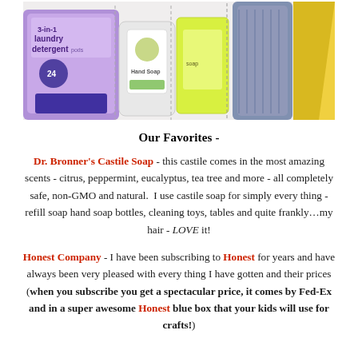[Figure (photo): Photo of various cleaning and soap products arranged on a white surface: a purple 3-in-1 laundry detergent pods bag, a clear hand soap bottle with label, a yellow-green soap packet, a blue bottle, and yellow packaging items.]
Our Favorites -
Dr. Bronner's Castile Soap - this castile comes in the most amazing scents - citrus, peppermint, eucalyptus, tea tree and more - all completely safe, non-GMO and natural. I use castile soap for simply every thing - refill soap hand soap bottles, cleaning toys, tables and quite frankly…my hair - LOVE it!
Honest Company - I have been subscribing to Honest for years and have always been very pleased with every thing I have gotten and their prices (when you subscribe you get a spectacular price, it comes by Fed-Ex and in a super awesome Honest blue box that your kids will use for crafts!)